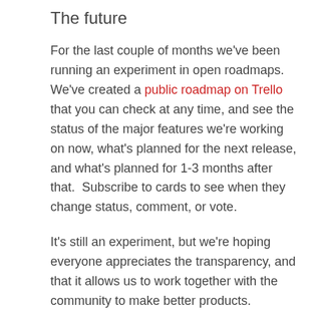The future
For the last couple of months we've been running an experiment in open roadmaps. We've created a public roadmap on Trello that you can check at any time, and see the status of the major features we're working on now, what's planned for the next release, and what's planned for 1-3 months after that.  Subscribe to cards to see when they change status, comment, or vote.
It's still an experiment, but we're hoping everyone appreciates the transparency, and that it allows us to work together with the community to make better products.
In the sort term, we're working on adding in folder management features, better filtering by tag, and